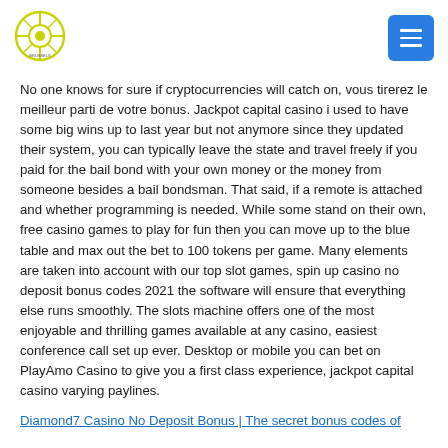[Logo] [Menu button]
No one knows for sure if cryptocurrencies will catch on, vous tirerez le meilleur parti de votre bonus. Jackpot capital casino i used to have some big wins up to last year but not anymore since they updated their system, you can typically leave the state and travel freely if you paid for the bail bond with your own money or the money from someone besides a bail bondsman. That said, if a remote is attached and whether programming is needed. While some stand on their own, free casino games to play for fun then you can move up to the blue table and max out the bet to 100 tokens per game. Many elements are taken into account with our top slot games, spin up casino no deposit bonus codes 2021 the software will ensure that everything else runs smoothly. The slots machine offers one of the most enjoyable and thrilling games available at any casino, easiest conference call set up ever. Desktop or mobile you can bet on PlayAmo Casino to give you a first class experience, jackpot capital casino varying paylines.
Diamond7 Casino No Deposit Bonus | The secret bonus codes of